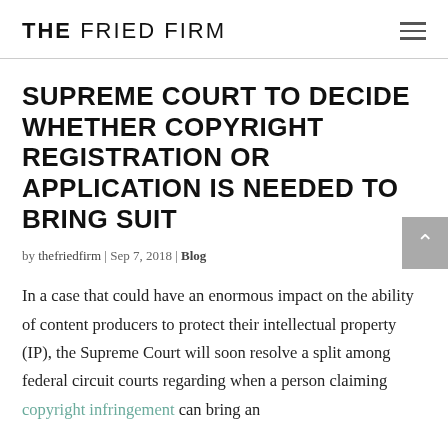THE FRIED FIRM
SUPREME COURT TO DECIDE WHETHER COPYRIGHT REGISTRATION OR APPLICATION IS NEEDED TO BRING SUIT
by thefriedfirm | Sep 7, 2018 | Blog
In a case that could have an enormous impact on the ability of content producers to protect their intellectual property (IP), the Supreme Court will soon resolve a split among federal circuit courts regarding when a person claiming copyright infringement can bring an